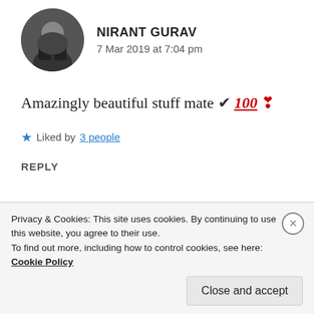[Figure (photo): Circular avatar photo of Nirant Gurav, person in dark clothing]
NIRANT GURAV
7 Mar 2019 at 7:04 pm
Amazingly beautiful stuff mate ✔ 💯 ❣
★ Liked by 3 people
REPLY
[Figure (photo): Circular avatar photo of Zealous Homo Sapiens, brownish-red color]
ZEALOUS HOMO SAPIENS
Privacy & Cookies: This site uses cookies. By continuing to use this website, you agree to their use.
To find out more, including how to control cookies, see here: Cookie Policy
Close and accept